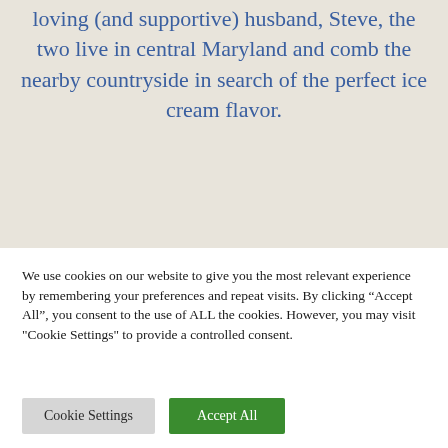Happily married for thirteen years to loving (and supportive) husband, Steve, the two live in central Maryland and comb the nearby countryside in search of the perfect ice cream flavor.
We use cookies on our website to give you the most relevant experience by remembering your preferences and repeat visits. By clicking “Accept All”, you consent to the use of ALL the cookies. However, you may visit "Cookie Settings" to provide a controlled consent.